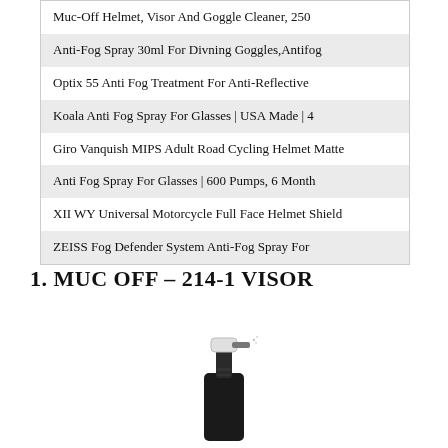Muc-Off Helmet, Visor And Goggle Cleaner, 250
Anti-Fog Spray 30ml For Divning Goggles,Antifog
Optix 55 Anti Fog Treatment For Anti-Reflective
Koala Anti Fog Spray For Glasses | USA Made | 4
Giro Vanquish MIPS Adult Road Cycling Helmet Matte
Anti Fog Spray For Glasses | 600 Pumps, 6 Month
XII WY Universal Motorcycle Full Face Helmet Shield
ZEISS Fog Defender System Anti-Fog Spray For
1. MUC OFF – 214-1 VISOR
[Figure (photo): Photo of a black spray bottle pump top for the Muc Off visor cleaner product]